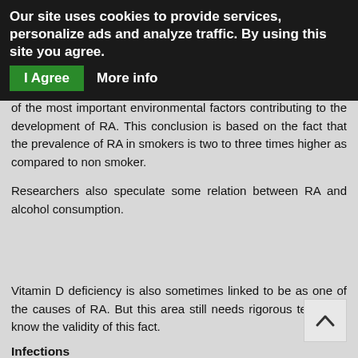Our site uses cookies to provide services, personalize ads and analyze traffic. By using this site you agree.
I Agree    More info
of the most important environmental factors contributing to the development of RA. This conclusion is based on the fact that the prevalence of RA in smokers is two to three times higher as compared to non smoker.
Researchers also speculate some relation between RA and alcohol consumption.
Vitamin D deficiency is also sometimes linked to be as one of the causes of RA. But this area still needs rigorous testing to know the validity of this fact.
Infections
It is believed that RA might develop as an exaggerated immune response of body to several infections including infections caused by Epstein bar virus (EBV) and Human herpes virus 6 (HPV-6).